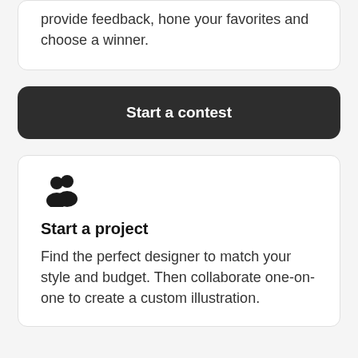provide feedback, hone your favorites and choose a winner.
Start a contest
[Figure (illustration): Two person silhouette icon (group/team icon) in dark color]
Start a project
Find the perfect designer to match your style and budget. Then collaborate one-on-one to create a custom illustration.